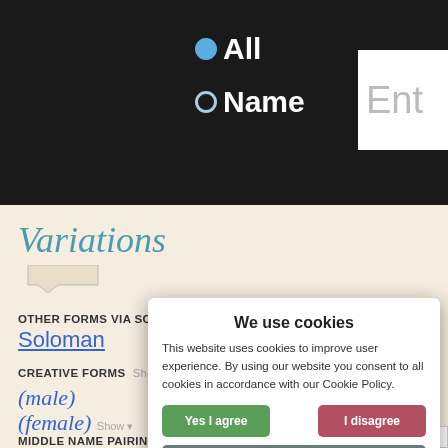[Figure (screenshot): Dark header bar with radio button options: 'All' (selected, filled blue circle) and 'Name' (empty circle), and a partially visible text input box showing 'Ent']
Variations
OTHER FORMS VIA SOLOMON  Salomo, Salome, Soloman
CREATIVE FORMS  Show ▾
(male)
(female)  Show ▾
MIDDLE NAME PAIRINGS
[Figure (screenshot): Cookie consent popup overlay with title 'We use cookies', descriptive text about cookie policy, 'Yes I agree' green button, 'I disagree' red button, 'Read more' gray button, and footer 'Free cookie consent by cookie-script.com']